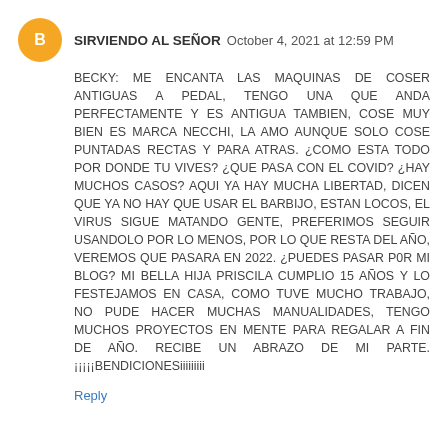SIRVIENDO AL SEÑOR  October 4, 2021 at 12:59 PM
BECKY: ME ENCANTA LAS MAQUINAS DE COSER ANTIGUAS A PEDAL, TENGO UNA QUE ANDA PERFECTAMENTE Y ES ANTIGUA TAMBIEN, COSE MUY BIEN ES MARCA NECCHI, LA AMO AUNQUE SOLO COSE PUNTADAS RECTAS Y PARA ATRAS. ¿COMO ESTA TODO POR DONDE TU VIVES? ¿QUE PASA CON EL COVID? ¿HAY MUCHOS CASOS? AQUI YA HAY MUCHA LIBERTAD, DICEN QUE YA NO HAY QUE USAR EL BARBIJO, ESTAN LOCOS, EL VIRUS SIGUE MATANDO GENTE, PREFERIMOS SEGUIR USANDOLO POR LO MENOS, POR LO QUE RESTA DEL AÑO, VEREMOS QUE PASARA EN 2022. ¿PUEDES PASAR P0R MI BLOG? MI BELLA HIJA PRISCILA CUMPLIO 15 AÑOS Y LO FESTEJAMOS EN CASA, COMO TUVE MUCHO TRABAJO, NO PUDE HACER MUCHAS MANUALIDADES, TENGO MUCHOS PROYECTOS EN MENTE PARA REGALAR A FIN DE AÑO. RECIBE UN ABRAZO DE MI PARTE. ¡¡¡¡¡BENDICIONESiiiiiiiii
Reply